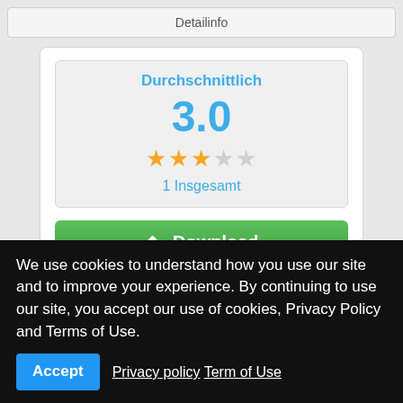Detailinfo
[Figure (screenshot): Rating widget showing 'Durchschnittlich' with score 3.0, three filled stars and two empty stars, '1 Insgesamt', a green Download button, and update info 'Letztes Update: 2013-07-22 21:53']
We use cookies to understand how you use our site and to improve your experience. By continuing to use our site, you accept our use of cookies, Privacy Policy and Terms of Use.
Accept   Privacy policy   Term of Use
beautifully engraved sheet music or export it as PDF or PNG.